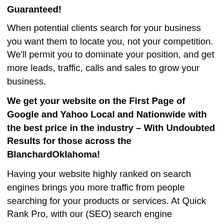Guaranteed!
When potential clients search for your business you want them to locate you, not your competition. We'll permit you to dominate your position, and get more leads, traffic, calls and sales to grow your business.
We get your website on the First Page of Google and Yahoo Local and Nationwide with the best price in the industry – With Undoubted Results for those across the BlanchardOklahoma!
Having your website highly ranked on search engines brings you more traffic from people searching for your products or services. At Quick Rank Pro, with our (SEO) search engine optimization and Marketing services, it is our aim to increase your calls, leads and sales through organic search engine optimization. Our certified team of (SEO) search engine optimization experts have the right combination of knowledge, experience and resources to bring about this goal for you, with undoubted results.